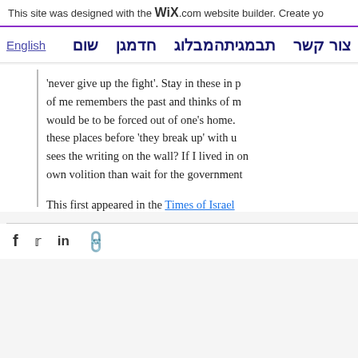This site was designed with the WiX.com website builder. Create yo
English  שום  חדמגן המגיתבלוג  צור קשר
'never give up the fight'. Stay in these in p of me remembers the past and thinks of m would be to be forced out of one's home. these places before 'they break up' with u sees the writing on the wall? If I lived in on own volition than wait for the government
This first appeared in the Times of Israel